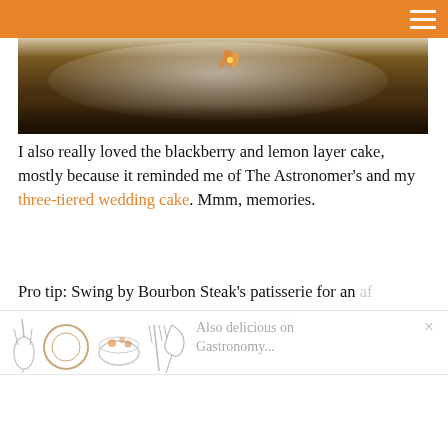[Figure (photo): Top portion of a food photo showing a white plate with garnish on a dark wooden surface, partially visible under an orange header bar]
I also really loved the blackberry and lemon layer cake, mostly because it reminded me of The Astronomer's and my three-tiered wedding cake. Mmm, memories.
Pro tip: Swing by Bourbon Steak's patisserie for an
[Figure (illustration): Gastronomy blog promotional widget showing kitchen utensil illustrations (whisk, plates, bowl with food, fork) in sketch style]
Also delicious on Gastronomy...
[Figure (logo): Gastronomy blog logo with stylized text and 'BY CATHY CHAPLIN' subtitle with decorative squiggle lines]
Lulu at the Hammer Muse...
gastronomyblog.com
AddThis